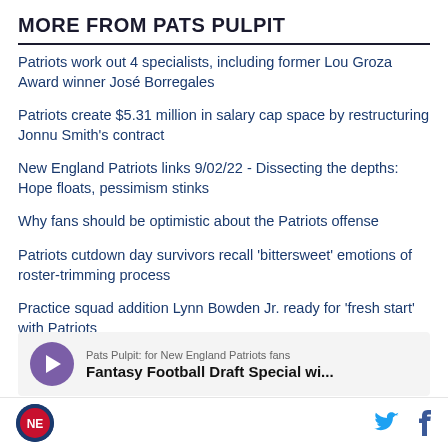MORE FROM PATS PULPIT
Patriots work out 4 specialists, including former Lou Groza Award winner José Borregales
Patriots create $5.31 million in salary cap space by restructuring Jonnu Smith's contract
New England Patriots links 9/02/22 - Dissecting the depths: Hope floats, pessimism stinks
Why fans should be optimistic about the Patriots offense
Patriots cutdown day survivors recall 'bittersweet' emotions of roster-trimming process
Practice squad addition Lynn Bowden Jr. ready for 'fresh start' with Patriots
[Figure (other): Podcast player widget with play button and text: Pats Pulpit: for New England Patriots fans / Fantasy Football Draft Special wi...]
Pats Pulpit logo, Twitter icon, Facebook icon